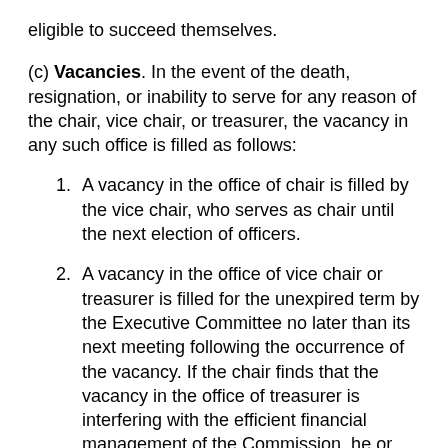eligible to succeed themselves.
(c) Vacancies. In the event of the death, resignation, or inability to serve for any reason of the chair, vice chair, or treasurer, the vacancy in any such office is filled as follows:
1. A vacancy in the office of chair is filled by the vice chair, who serves as chair until the next election of officers.
2. A vacancy in the office of vice chair or treasurer is filled for the unexpired term by the Executive Committee no later than its next meeting following the occurrence of the vacancy. If the chair finds that the vacancy in the office of treasurer is interfering with the efficient financial management of the Commission, he or she may appoint a